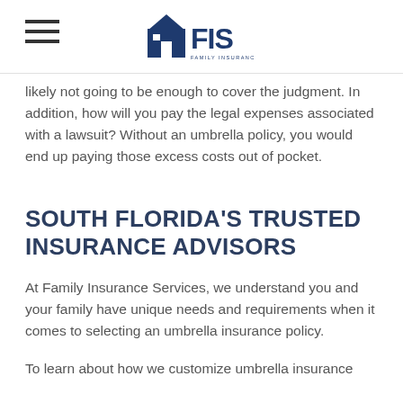FIS Family Insurance Services
likely not going to be enough to cover the judgment. In addition, how will you pay the legal expenses associated with a lawsuit? Without an umbrella policy, you would end up paying those excess costs out of pocket.
SOUTH FLORIDA'S TRUSTED INSURANCE ADVISORS
At Family Insurance Services, we understand you and your family have unique needs and requirements when it comes to selecting an umbrella insurance policy.
To learn about how we customize umbrella insurance